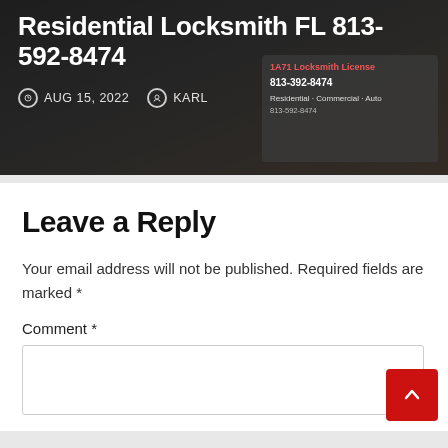[Figure (screenshot): Hero image showing a locksmith business card being held, with dark overlay. Displays title 'Residential Locksmith FL 813-592-8474', date 'AUG 15, 2022', and author 'KARL'.]
Residential Locksmith FL 813-592-8474
AUG 15, 2022  KARL
Leave a Reply
Your email address will not be published. Required fields are marked *
Comment *